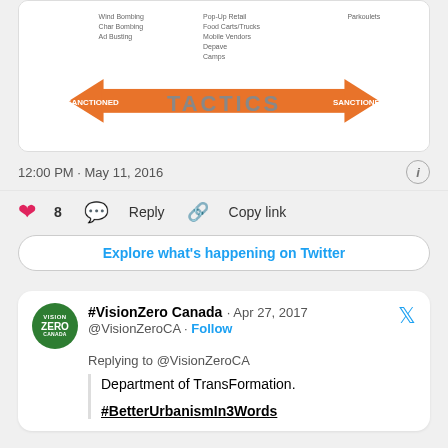[Figure (screenshot): Tactics diagram with orange double-headed arrow labeled UNSANCTIONED on left and SANCTIONED on right, with TACTICS text in center, and small text columns above]
12:00 PM · May 11, 2016
8  Reply  Copy link
Explore what's happening on Twitter
#VisionZero Canada · Apr 27, 2017
@VisionZeroCA · Follow
Replying to @VisionZeroCA
Department of TransFormation.
#BetterUrbanismIn3Words